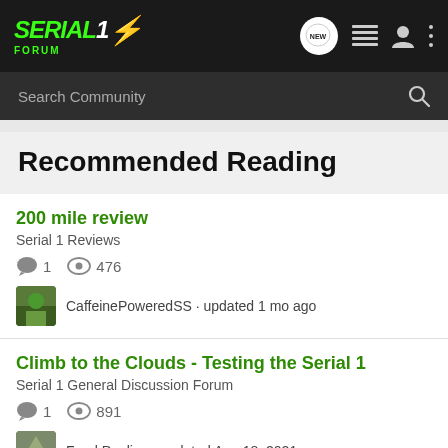Serial 1 Forum — navigation bar with logo, NEW button, list icon, user icon, menu icon
Search Community
Recommended Reading
200 mile review
Serial 1 Reviews
1 comment · 476 views
CaffeinePoweredSS · updated 1 mo ago
Climb to the Clouds - Testing the Serial 1
Serial 1 General Discussion Forum
1 comment · 891 views
FrankPaolino · updated Aug 18, 2021